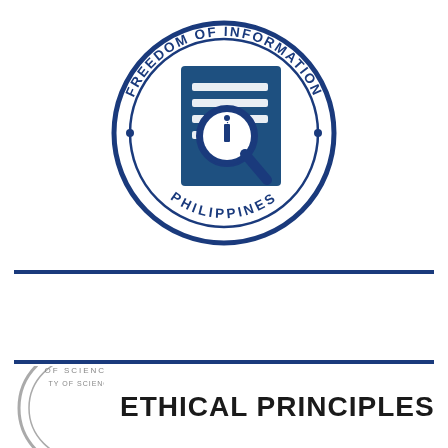[Figure (logo): Freedom of Information Philippines circular logo with magnifying glass and document icon in dark navy blue]
[Figure (logo): Partial circular seal/logo of a science institution, partially visible at bottom left]
ETHICAL PRINCIPLES